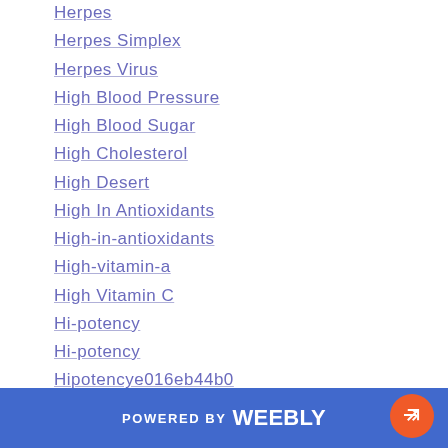Herpes
Herpes Simplex
Herpes Virus
High Blood Pressure
High Blood Sugar
High Cholesterol
High Desert
High In Antioxidants
High-in-antioxidants
High-vitamin-a
High Vitamin C
Hi-potency
Hi-potency
Hipotencye016eb44b0
HISTAMINE IN HIVES
HIV/AIDS
HIVES AND ANGIOEDEMA
POWERED BY weebly